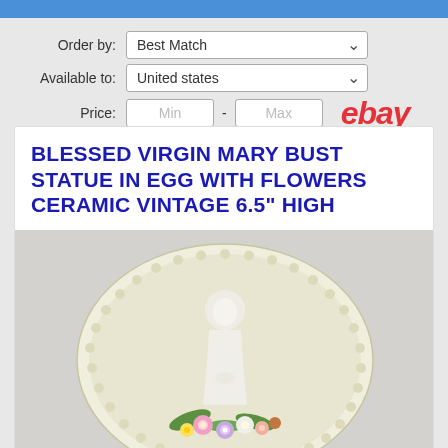Order by: Best Match | Available to: United states | Price: Min - Max | ebay
BLESSED VIRGIN MARY BUST STATUE IN EGG WITH FLOWERS CERAMIC VINTAGE 6.5" HIGH
[Figure (photo): Ceramic vintage statue of the Blessed Virgin Mary bust inside an egg-shaped holder decorated with colorful flowers at the base]